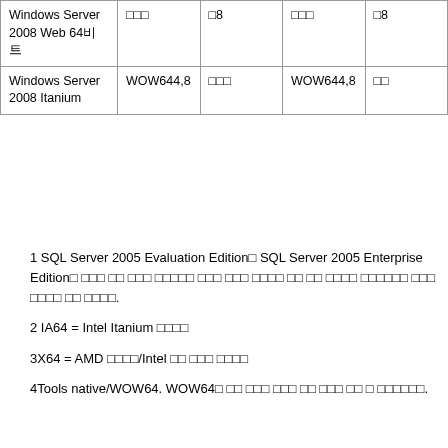| Windows Server 2008 Web 64비트 | □□□ | □8 | □□□ | □8 |
| Windows Server 2008 Itanium | WOW644,8 | □□□ | WOW644,8 | □□ |
1 SQL Server 2005 Evaluation Edition□ SQL Server 2005 Enterprise Edition□ □□□ □□ □□□ □□□□□ □□□ □□□ □□□□ □□ □□ □□□□ □□□□□□ □□□ □□□□ □□ □□□□.
2 IA64 = Intel Itanium □□□□
3X64 = AMD □□□□/Intel □□ □□□ □□□□
4Tools native/WOW64. WOW64□ □□ □□□ □□□ □□ □□□ □□ □ □□□□□□.